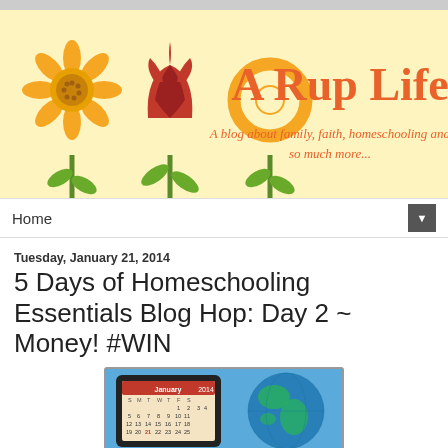[Figure (illustration): A Rup Life blog banner with decorative folk-art flowers (sunflower, tulip, daisy) on a pale yellow background. Text reads 'A Rup Life' in coral/orange and 'A blog about family, faith, homeschooling and so much more...' in orange cursive.]
Home ▼
Tuesday, January 21, 2014
5 Days of Homeschooling Essentials Blog Hop: Day 2 ~ Money! #WIN
[Figure (photo): A tablet showing a January 2014 calendar and a globe on a blue background.]